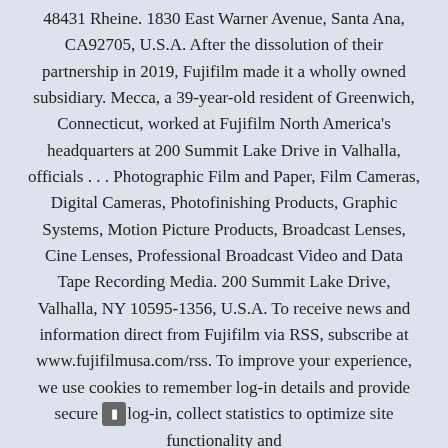48431 Rheine. 1830 East Warner Avenue, Santa Ana, CA92705, U.S.A. After the dissolution of their partnership in 2019, Fujifilm made it a wholly owned subsidiary. Mecca, a 39-year-old resident of Greenwich, Connecticut, worked at Fujifilm North America's headquarters at 200 Summit Lake Drive in Valhalla, officials … Photographic Film and Paper, Film Cameras, Digital Cameras, Photofinishing Products, Graphic Systems, Motion Picture Products, Broadcast Lenses, Cine Lenses, Professional Broadcast Video and Data Tape Recording Media. 200 Summit Lake Drive, Valhalla, NY 10595-1356, U.S.A. To receive news and information direct from Fujifilm via RSS, subscribe at www.fujifilmusa.com/rss. To improve your experience, we use cookies to remember log-in details and provide secure log-in, collect statistics to optimize site functionality and